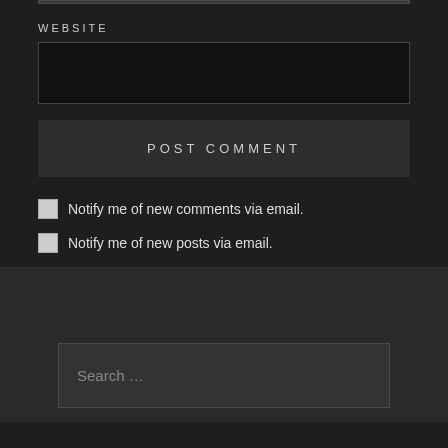WEBSITE
POST COMMENT
Notify me of new comments via email.
Notify me of new posts via email.
Search ...